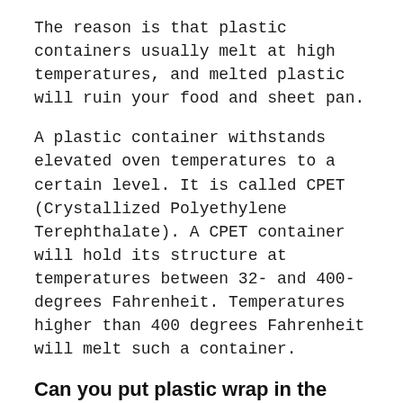The reason is that plastic containers usually melt at high temperatures, and melted plastic will ruin your food and sheet pan.
A plastic container withstands elevated oven temperatures to a certain level. It is called CPET (Crystallized Polyethylene Terephthalate). A CPET container will hold its structure at temperatures between 32- and 400-degrees Fahrenheit. Temperatures higher than 400 degrees Fahrenheit will melt such a container.
Can you put plastic wrap in the oven when proofing dough?
You can, but plastic wrap is not an oven-safe